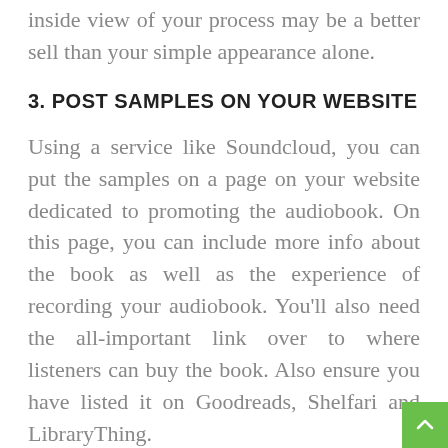inside view of your process may be a better sell than your simple appearance alone.
3. POST SAMPLES ON YOUR WEBSITE
Using a service like Soundcloud, you can put the samples on a page on your website dedicated to promoting the audiobook. On this page, you can include more info about the book as well as the experience of recording your audiobook. You'll also need the all-important link over to where listeners can buy the book. Also ensure you have listed it on Goodreads, Shelfari and LibraryThing.